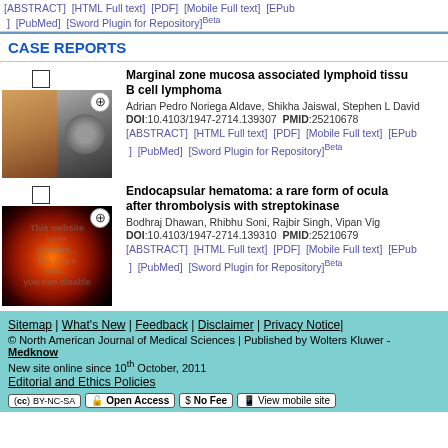[ABSTRACT] [HTML Full text] [PDF] [Mobile Full text] [EPub] [PubMed] [Sword Plugin for Repository]Beta
CASE REPORTS
Marginal zone mucosa associated lymphoid tissue B cell lymphoma
Adrian Pedro Noriega Aldave, Shikha Jaiswal, Stephen L David
DOI:10.4103/1947-2714.139307  PMID:25210678
[ABSTRACT] [HTML Full text] [PDF] [Mobile Full text] [EPub] [PubMed] [Sword Plugin for Repository]Beta
Endocapsular hematoma: a rare form of ocular after thrombolysis with streptokinase
Bodhraj Dhawan, Rhibhu Soni, Rajbir Singh, Vipan Vig
DOI:10.4103/1947-2714.139310  PMID:25210679
[ABSTRACT] [HTML Full text] [PDF] [Mobile Full text] [EPub] [PubMed] [Sword Plugin for Repository]Beta
Sitemap | What's New | Feedback | Disclaimer | Privacy Notice| © North American Journal of Medical Sciences | Published by Wolters Kluwer - Medknow New site online since 10th October, 2011 Editorial and Ethics Policies